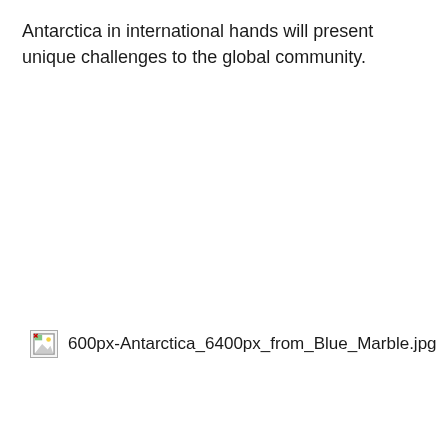Antarctica in international hands will present unique challenges to the global community.
[Figure (photo): Broken image placeholder with filename: 600px-Antarctica_6400px_from_Blue_Marble.jpg]